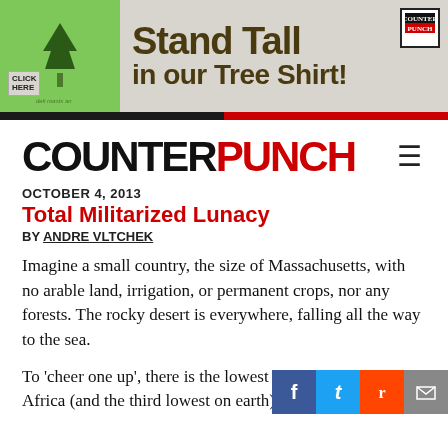[Figure (illustration): Advertisement banner for a green tree shirt. Features a green t-shirt with a tree silhouette, text 'Stand Tall in our Tree Shirt!' in dark olive/brown bold font, a 'Click Here' label, and a small CounterPunch logo in top right corner.]
COUNTERPUNCH
OCTOBER 4, 2013
Total Militarized Lunacy
BY ANDRE VLTCHEK
Imagine a small country, the size of Massachusetts, with no arable land, irrigation, or permanent crops, nor any forests. The rocky desert is everywhere, falling all the way to the sea.
To 'cheer one up', there is the lowest t a Africa (and the third lowest on earth); an eerie crater